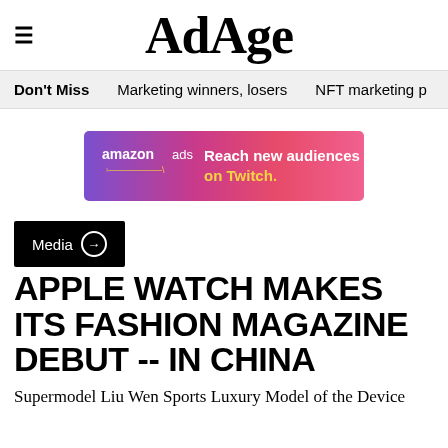AdAge
Don't Miss   Marketing winners, losers   NFT marketing p
[Figure (illustration): Amazon Ads banner advertisement with purple to pink gradient background, text: amazon ads — Reach new audiences on Twitch.]
Media →
APPLE WATCH MAKES ITS FASHION MAGAZINE DEBUT -- IN CHINA
Supermodel Liu Wen Sports Luxury Model of the Device